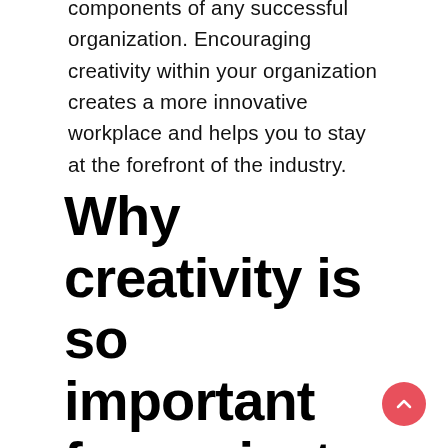components of any successful organization. Encouraging creativity within your organization creates a more innovative workplace and helps you to stay at the forefront of the industry.
Why creativity is so important for project success?
Creativity can also add fun to the project environment. Generating ideas to solve a problem, improve a process, or create a new product can be very enjoyable and help to